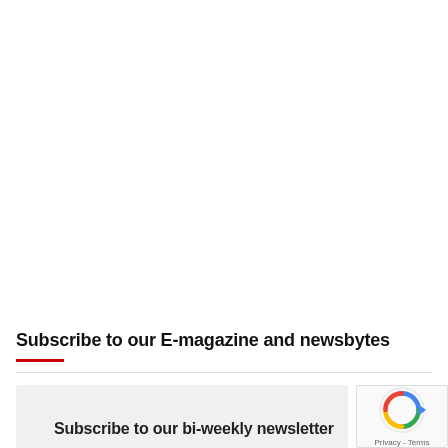Subscribe to our E-magazine and newsbytes
Subscribe to our bi-weekly newsletter